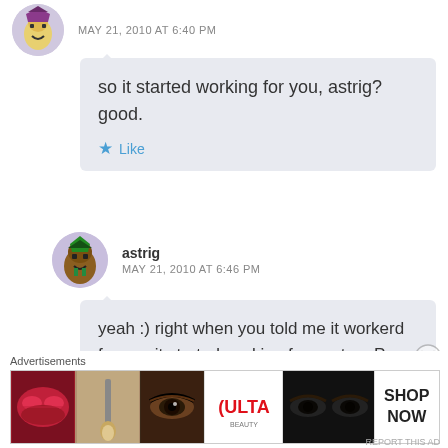MAY 21, 2010 AT 6:40 PM
so it started working for you, astrig? good.
Like
astrig
MAY 21, 2010 AT 6:46 PM
yeah :) right when you told me it workerd for you it started working for me too :P haha. canaval on set was nice too.
Advertisements